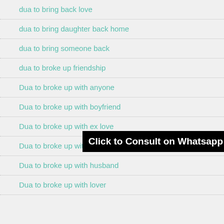dua to bring back love
dua to bring daughter back home
dua to bring someone back
dua to broke up friendship
Dua to broke up with anyone
Dua to broke up with boyfriend
Dua to broke up with ex love
Dua to broke up with girlfriend
Dua to broke up with husband
Dua to broke up with lover
[Figure (other): Black banner overlay with white bold text: 'Click to Consult on Whatsapp']